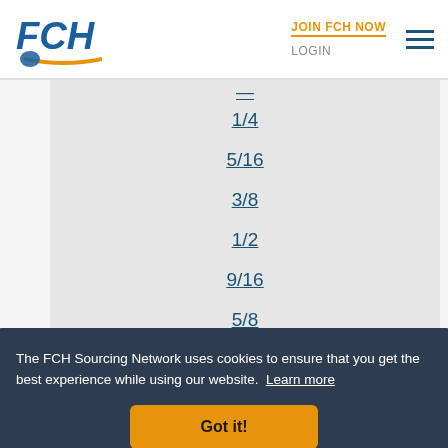[Figure (logo): FCH logo with blue text and orange swoosh/arrow graphic]
JOIN FCH NOW  LOGIN
1/4
5/16
3/8
1/2
9/16
5/8
11/16
The FCH Sourcing Network uses cookies to ensure that you get the best experience while using our website. Learn more
Got it!
1 1/2